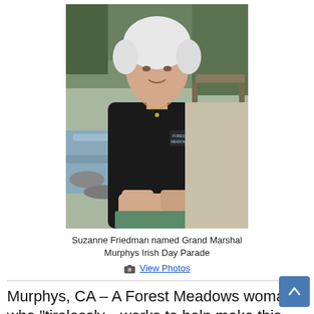[Figure (photo): Elderly woman with short white hair wearing a black Forest Meadows sweatshirt, seated outdoors near a creek with rocks and trees in the background, hands folded on a green table.]
Suzanne Friedman named Grand Marshal
Murphys Irish Day Parade
📷 View Photos
Murphys, CA – A Forest Meadows woman who "tirelessly…works to help make this the remarkable